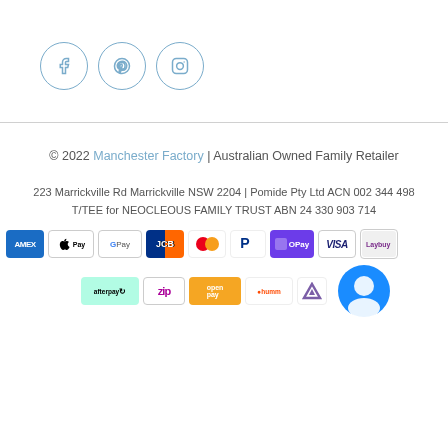[Figure (illustration): Three social media icons in circles (Facebook, Pinterest, Instagram) with light blue outlines]
© 2022 Manchester Factory | Australian Owned Family Retailer
223 Marrickville Rd Marrickville NSW 2204 | Pomide Pty Ltd ACN 002 344 498 T/TEE for NEOCLEOUS FAMILY TRUST ABN 24 330 903 714
[Figure (illustration): Payment method logos: Amex, Apple Pay, Google Pay, JCB, Mastercard, PayPal, OPay, Visa, Afterpay, Zip, Open Pay, Humm, Laybuy, chat widget]